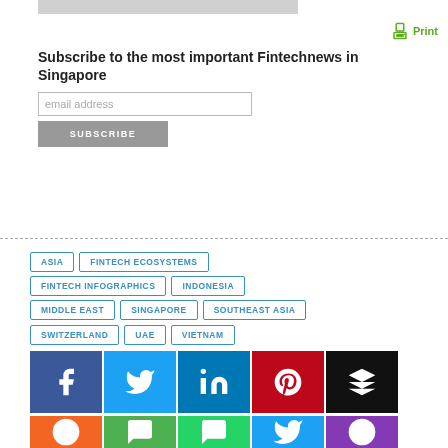[Figure (other): Gray placeholder image bar at top]
[Figure (other): Print button with printer icon]
Subscribe to the most important Fintechnews in Singapore
[Figure (other): Email address input field and SUBSCRIBE button]
ASIA
FINTECH ECOSYSTEMS
FINTECH INFOGRAPHICS
INDONESIA
MIDDLE EAST
SINGAPORE
SOUTHEAST ASIA
SWITZERLAND
UAE
VIETNAM
[Figure (other): Social sharing icons: Facebook, Twitter, LinkedIn, Pinterest, Buffer, and second row with additional social icons]